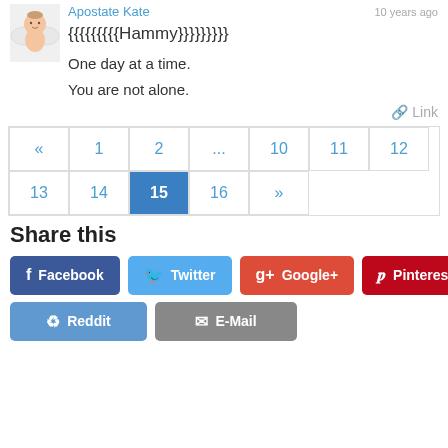Apostate Kate
10 years ago
{{{{{{{{{Hammy}}}}}}}}}
One day at a time.
You are not alone.
Link
« 1 2 ... 10 11 12 13 14 15 16 »
Share this
Facebook Twitter Google+ Pinterest Reddit E-Mail